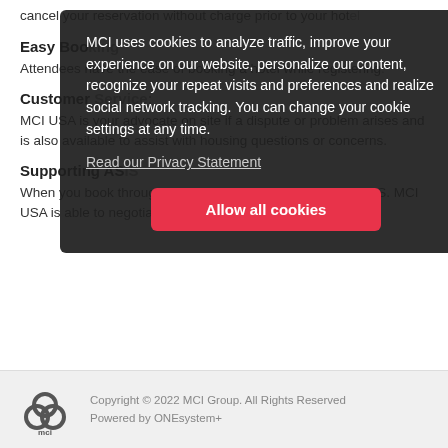cancel your reservation without charge prior to your hotel...
Easy Boo...
Attendees have the ease of booking a hotel while registering...
Customer Service:
MCI USA is your advocate on site if a dispute or problem arises and is also available to assist with housing questions or concerns.
Supporting AS...
When you book through our system, you are supporting ASIS. MCI USA is able to negotiate the best deals on room rates.
[Figure (other): Cookie consent overlay with dark background. Text: 'MCI uses cookies to analyze traffic, improve your experience on our website, personalize our content, recognize your repeat visits and preferences and realize social network tracking. You can change your cookie settings at any time.' Link: 'Read our Privacy Statement'. Button: 'Allow all cookies']
Copyright © 2022 MCI Group. All Rights Reserved
Powered by ONEsystem+